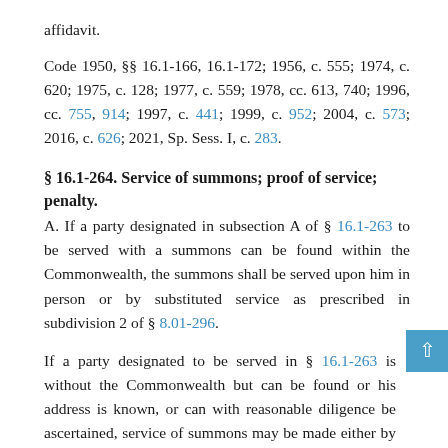affidavit.
Code 1950, §§ 16.1-166, 16.1-172; 1956, c. 555; 1974, c. 620; 1975, c. 128; 1977, c. 559; 1978, cc. 613, 740; 1996, cc. 755, 914; 1997, c. 441; 1999, c. 952; 2004, c. 573; 2016, c. 626; 2021, Sp. Sess. I, c. 283.
§ 16.1-264. Service of summons; proof of service; penalty.
A. If a party designated in subsection A of § 16.1-263 to be served with a summons can be found within the Commonwealth, the summons shall be served upon him in person or by substituted service as prescribed in subdivision 2 of § 8.01-296.
If a party designated to be served in § 16.1-263 is without the Commonwealth but can be found or his address is known, or can with reasonable diligence be ascertained, service of summons may be made either by delivering a copy thereof to him personally or by mailing a copy thereof to him by certified mail return receipt